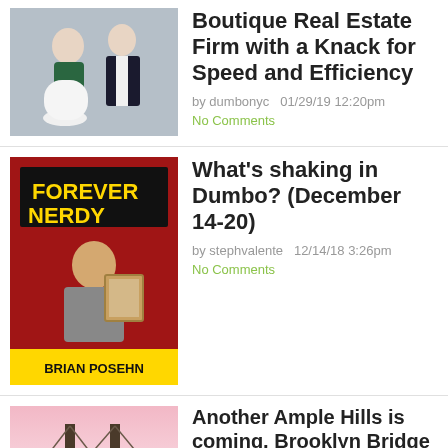[Figure (photo): Two people posing: a woman seated in a white chair and a man in a dark suit standing behind]
Boutique Real Estate Firm with a Knack for Speed and Efficiency
by dumbonyc   01/29/19 12:20pm
No Comments
[Figure (photo): Book cover: Forever Nerdy by Brian Posehn, man holding a framed portrait]
What's shaking in Dumbo? (December 14-20)
by stephvalente   12/14/18 3:26pm
No Comments
[Figure (photo): Bridge at dusk with pink sky and water reflection]
Another Ample Hills is coming, Brooklyn Bridge Park is getting a squash court, and more links
by stephvalente   12/11/18 12:48pm
No Comments